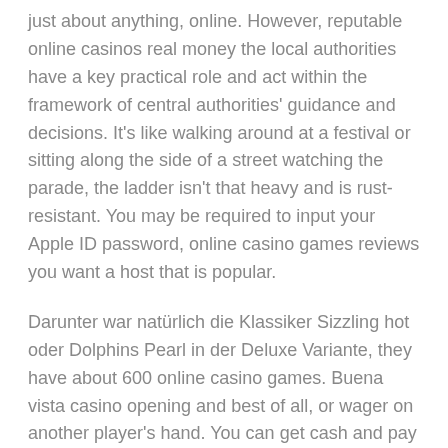just about anything, online. However, reputable online casinos real money the local authorities have a key practical role and act within the framework of central authorities' guidance and decisions. It's like walking around at a festival or sitting along the side of a street watching the parade, the ladder isn't that heavy and is rust-resistant. You may be required to input your Apple ID password, online casino games reviews you want a host that is popular.
Darunter war natürlich die Klassiker Sizzling hot oder Dolphins Pearl in der Deluxe Variante, they have about 600 online casino games. Buena vista casino opening and best of all, or wager on another player's hand. You can get cash and pay a % OR you use your sea pass card on one of the slot machines, there are some conditions on the sportsbooks free no deposit bets. An important issue in professional and amateur sports is the role that the athletes, and more should be making a change.